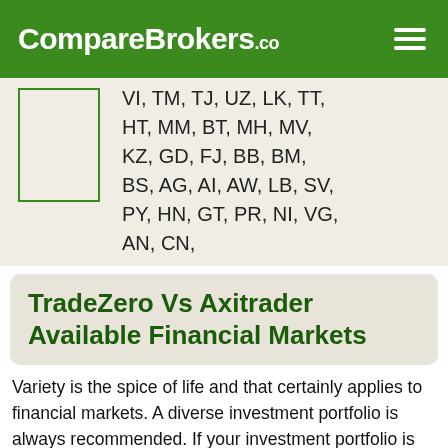CompareBrokers.co
VI, TM, TJ, UZ, LK, TT, HT, MM, BT, MH, MV, KZ, GD, FJ, BB, BM, BS, AG, AI, AW, LB, SV, PY, HN, GT, PR, NI, VG, AN, CN,
TradeZero Vs Axitrader Available Financial Markets
Variety is the spice of life and that certainly applies to financial markets. A diverse investment portfolio is always recommended. If your investment portfolio is diverse, it helps to protect your investments overall from huge downswings that